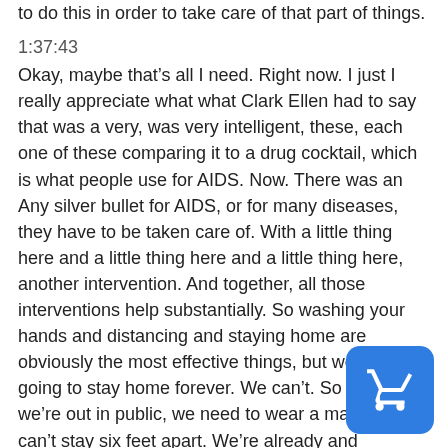to do this in order to take care of that part of things.
1:37:43
Okay, maybe that’s all I need. Right now. I just I really appreciate what what Clark Ellen had to say that was a very, was very intelligent, these, each one of these comparing it to a drug cocktail, which is what people use for AIDS. Now. There was an Any silver bullet for AIDS, or for many diseases, they have to be taken care of. With a little thing here and a little thing here and a little thing here, another intervention. And together, all those interventions help substantially. So washing your hands and distancing and staying home are obviously the most effective things, but we’re not going to stay home forever. We can’t. So when we’re out in public, we need to wear a mask if we can’t stay six feet apart. We’re already and Councilwoman Martin said, this is how we ope this and we’re not imposing this to put more restrictions on people, we’re aware we’re doing this…